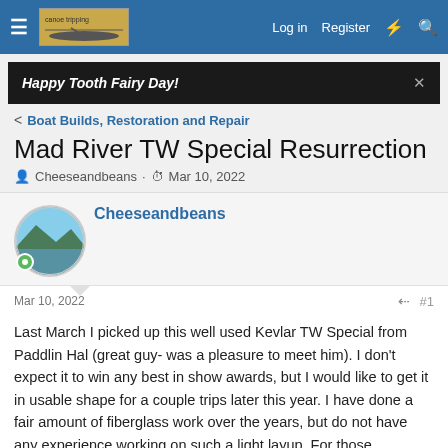Log in  Register
Happy Tooth Fairy Day!
Boat Builds, Restoration and Repair
Mad River TW Special Resurrection
Cheeseandbeans · Mar 10, 2022
Cheeseandbeans
Mar 10, 2022    #1
Last March I picked up this well used Kevlar TW Special from Paddlin Hal (great guy- was a pleasure to meet him). I don't expect it to win any best in show awards, but I would like to get it in usable shape for a couple trips later this year. I have done a fair amount of fiberglass work over the years, but do not have any experience working on such a light layup. For those